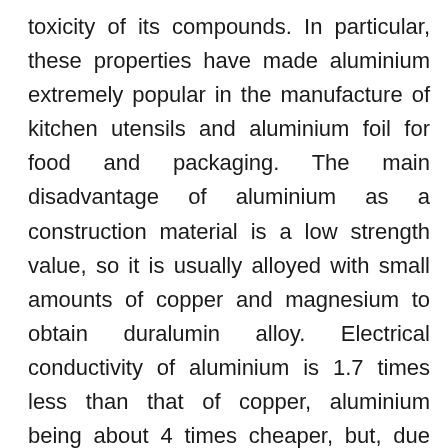toxicity of its compounds. In particular, these properties have made aluminium extremely popular in the manufacture of kitchen utensils and aluminium foil for food and packaging. The main disadvantage of aluminium as a construction material is a low strength value, so it is usually alloyed with small amounts of copper and magnesium to obtain duralumin alloy. Electrical conductivity of aluminium is 1.7 times less than that of copper, aluminium being about 4 times cheaper, but, due to 3.3 times lower density, aluminium quantity required to obtain equal strength is about 2 times less. Therefore, it is widely used in electrical engineering to produce wires and